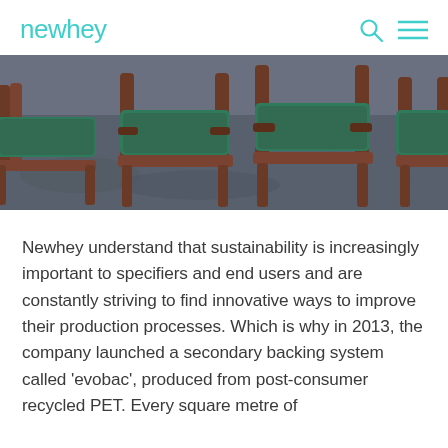newhey
[Figure (photo): Row of wooden chairs with green leather upholstery viewed from behind, on a dark textured floor.]
Newhey understand that sustainability is increasingly important to specifiers and end users and are constantly striving to find innovative ways to improve their production processes. Which is why in 2013, the company launched a secondary backing system called ‘evobac’, produced from post-consumer recycled PET. Every square metre of